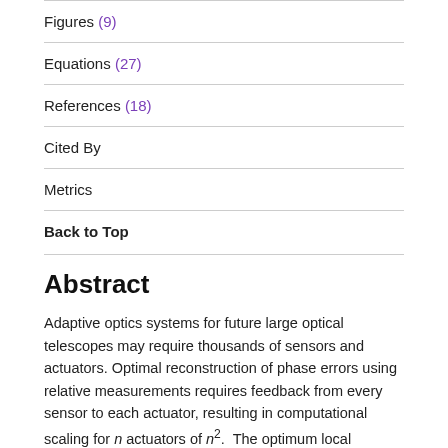Figures (9)
Equations (27)
References (18)
Cited By
Metrics
Back to Top
Abstract
Adaptive optics systems for future large optical telescopes may require thousands of sensors and actuators. Optimal reconstruction of phase errors using relative measurements requires feedback from every sensor to each actuator, resulting in computational scaling for n actuators of n². The optimum local reconstructor is investigated, wherein each actuator command depends only on sensor information in a neighboring region. The resulting performance degradation on "global" modes is quantified analytically, and two approaches